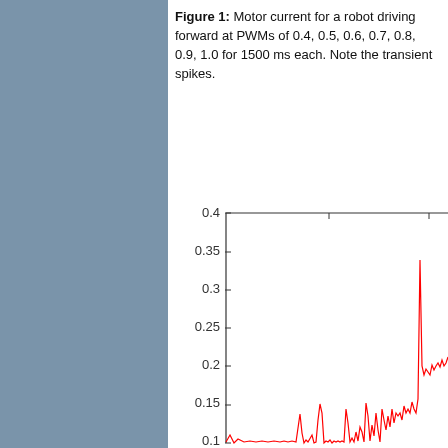Figure 1: Motor current for a robot driving forward at PWMs of 0.4, 0.5, 0.6, 0.7, 0.8, 0.9, 1.0 for 1500 ms each. Note the transient spikes.
[Figure (continuous-plot): Line chart showing motor current (y-axis 0.1 to 0.4) for a robot driving forward at increasing PWM values. The red line shows low current at start, transient spikes at PWM transitions, and increasing noisy current levels at higher PWMs up to ~0.22A, with a spike to ~0.38A near the end.]